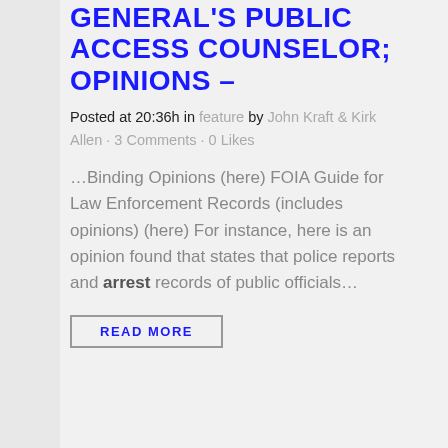GENERAL'S PUBLIC ACCESS COUNSELOR; OPINIONS –
Posted at 20:36h in feature by John Kraft & Kirk Allen · 3 Comments · 0 Likes
…Binding Opinions (here) FOIA Guide for Law Enforcement Records (includes opinions) (here) For instance, here is an opinion found that states that police reports and arrest records of public officials…
READ MORE